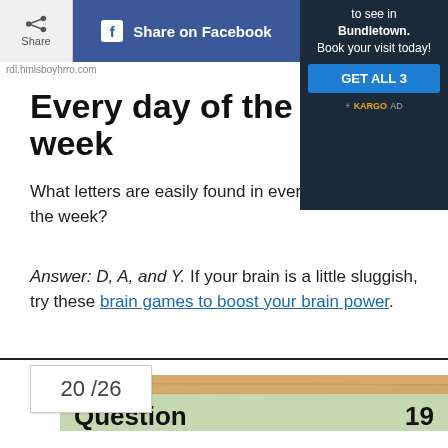Share | Share on Facebook
[Figure (screenshot): Advertisement banner for Bundletown with dark background, text 'to see in Bundletown. Book your visit today!', blue GET ALL 3 button, and KARGO AD label]
Every day of the week
What letters are easily found in every single day of the week?
Answer: D, A, and Y. If your brain is a little sluggish, try these brain games to boost your brain power.
[Figure (infographic): Quiz card showing 20/26 counter and Question 19 label on wood-textured background with green bar]